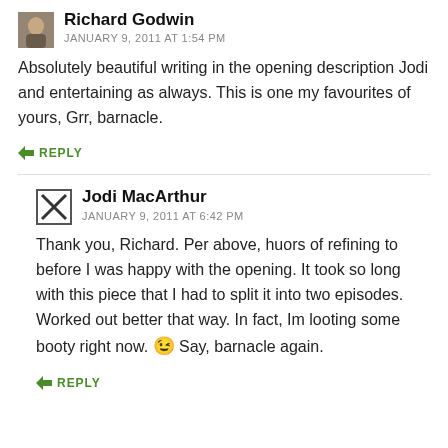Richard Godwin
JANUARY 9, 2011 AT 1:54 PM
Absolutely beautiful writing in the opening description Jodi and entertaining as always. This is one my favourites of yours, Grr, barnacle.
↳ REPLY
Jodi MacArthur
JANUARY 9, 2011 AT 6:42 PM
Thank you, Richard. Per above, huors of refining to before I was happy with the opening. It took so long with this piece that I had to split it into two episodes. Worked out better that way. In fact, Im looting some booty right now. 😉 Say, barnacle again.
↳ REPLY